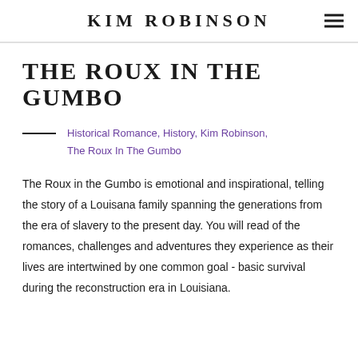KIM ROBINSON
THE ROUX IN THE GUMBO
Historical Romance, History, Kim Robinson, The Roux In The Gumbo
The Roux in the Gumbo is emotional and inspirational, telling the story of a Louisana family spanning the generations from the era of slavery to the present day. You will read of the romances, challenges and adventures they experience as their lives are intertwined by one common goal - basic survival during the reconstruction era in Louisiana.